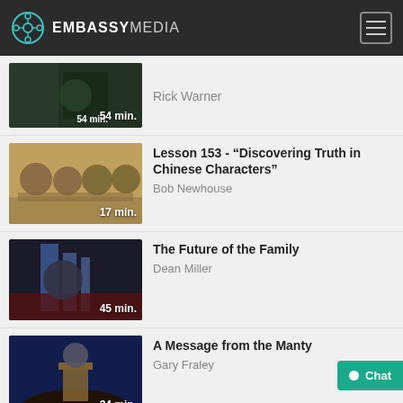EMBASSY MEDIA
[Figure (screenshot): Video thumbnail showing a person, duration 54 min.]
Rick Warner
[Figure (screenshot): Video thumbnail showing group of people at a table, duration 17 min.]
Lesson 153 - “Discovering Truth in Chinese Characters”
Bob Newhouse
[Figure (screenshot): Video thumbnail showing speaker on stage with blue curtains, duration 45 min.]
The Future of the Family
Dean Miller
[Figure (screenshot): Video thumbnail showing speaker at podium with blue lights, duration 34 min.]
A Message from the Manty
Gary Fraley
[Figure (screenshot): Video thumbnail showing a man, partially visible]
Asking Questions in Pursuit of Truth